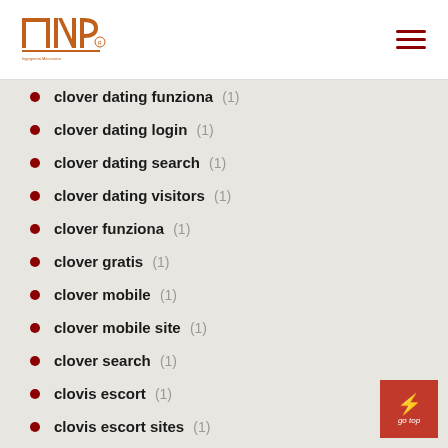INP logo and navigation
clover dating funziona (1)
clover dating login (1)
clover dating search (1)
clover dating visitors (1)
clover funziona (1)
clover gratis (1)
clover mobile (1)
clover mobile site (1)
clover search (1)
clovis escort (1)
clovis escort sites (1)